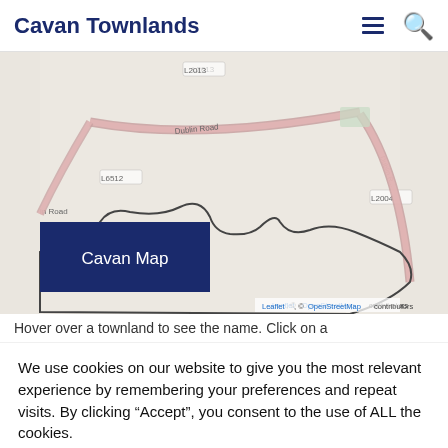Cavan Townlands
[Figure (map): OpenStreetMap showing Cavan area with road labels L2013, L6512, Dublin Road, L2004, L6510, and a dark outlined townland boundary polygon. A dark navy overlay box in lower-left reads 'Cavan Map'. Attribution: Leaflet, © OpenStreetMap contributors.]
Hover over a townland to see the name. Click on a
We use cookies on our website to give you the most relevant experience by remembering your preferences and repeat visits. By clicking “Accept”, you consent to the use of ALL the cookies.
Cookie settings
ACCEPT